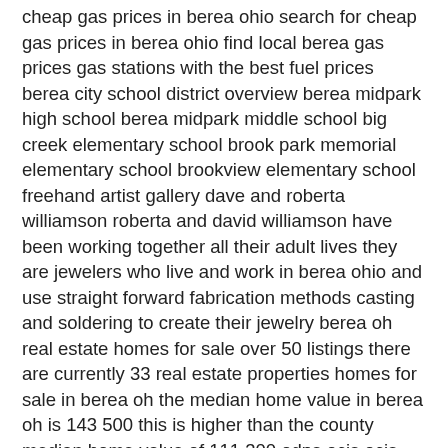cheap gas prices in berea ohio search for cheap gas prices in berea ohio find local berea gas prices gas stations with the best fuel prices berea city school district overview berea midpark high school berea midpark middle school big creek elementary school brook park memorial elementary school brookview elementary school freehand artist gallery dave and roberta williamson roberta and david williamson have been working together all their adult lives they are jewelers who live and work in berea ohio and use straight forward fabrication methods casting and soldering to create their jewelry berea oh real estate homes for sale over 50 listings there are currently 33 real estate properties homes for sale in berea oh the median home value in berea oh is 143 500 this is higher than the county median home value of 111 300 odps ocjs ocjs ohio gov background checks in ohio as ohio s planning and justice assistance agency the ohio office of criminal justice services does not offer background checks or criminal record searches berea oh real estate berea homes for sale realtor com find berea oh real estate for sale today there are 66 homes for sale in berea at a median listing price of 158 950 cleveland pizza fest the best pizza event in ohio thank you to everyone who came to our 4th annual pizza fest be sure to check out the results from the 2018 cleveland pizza fest here historic transportation maps railsandtrails state of ohio railroad road maps c1700 indian trails and towns of ohio 1914